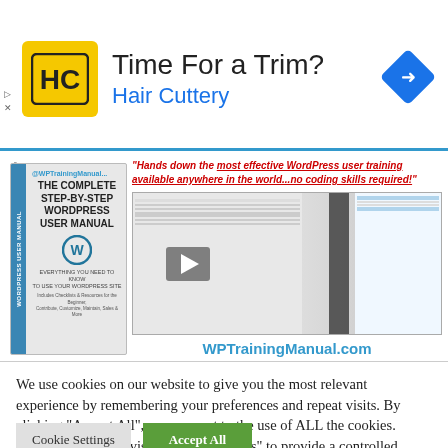[Figure (screenshot): Hair Cuttery advertisement banner with HC logo (yellow background, black HC letters), title 'Time For a Trim?', subtitle 'Hair Cuttery' in blue, and a blue navigation diamond icon on the right. Small ad markers (triangle and X) on the left.]
[Figure (screenshot): WPTrainingManual.com advertisement showing a book cover 'The Complete Step-By-Step WordPress User Manual' with blue spine, alongside a binder with WordPress training pages and a video play button overlay. Quote text in red italic: 'Hands down the most effective WordPress user training available anywhere in the world...no coding skills required!' URL: WPTrainingManual.com shown below.]
We use cookies on our website to give you the most relevant experience by remembering your preferences and repeat visits. By clicking "Accept All", you consent to the use of ALL the cookies. However, you may visit "Cookie Settings" to provide a controlled consent.
Cookie Settings
Accept All